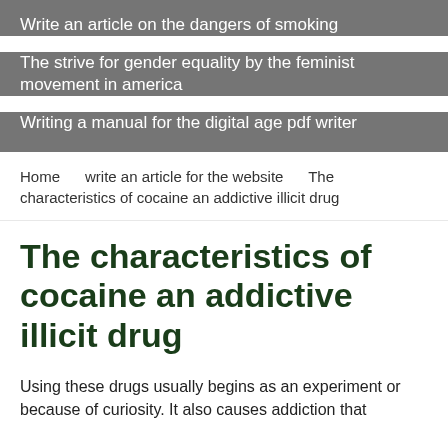Write an article on the dangers of smoking
The strive for gender equality by the feminist movement in america
Writing a manual for the digital age pdf writer
Home     write an article for the website     The characteristics of cocaine an addictive illicit drug
The characteristics of cocaine an addictive illicit drug
Using these drugs usually begins as an experiment or because of curiosity. It also causes addiction that